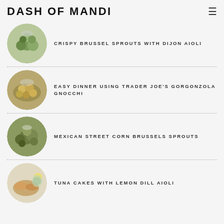DASH OF MANDI
[Figure (photo): Circular thumbnail photo of crispy brussel sprouts dish]
CRISPY BRUSSEL SPROUTS WITH DIJON AIOLI
[Figure (photo): Circular thumbnail photo of gorgonzola gnocchi dish]
EASY DINNER USING TRADER JOE'S GORGONZOLA GNOCCHI
[Figure (photo): Circular thumbnail photo of Mexican street corn brussels sprouts]
MEXICAN STREET CORN BRUSSELS SPROUTS
[Figure (photo): Circular thumbnail photo of tuna cakes with lemon dill aioli]
TUNA CAKES WITH LEMON DILL AIOLI